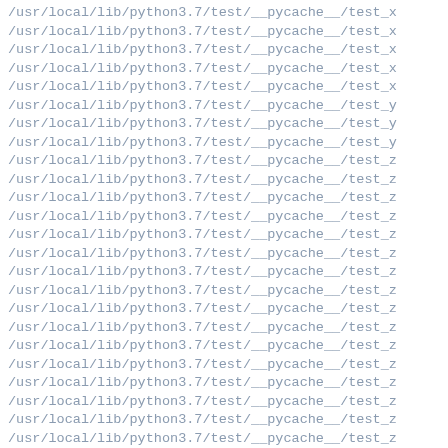/usr/local/lib/python3.7/test/__pycache__/test_x
/usr/local/lib/python3.7/test/__pycache__/test_x
/usr/local/lib/python3.7/test/__pycache__/test_x
/usr/local/lib/python3.7/test/__pycache__/test_x
/usr/local/lib/python3.7/test/__pycache__/test_x
/usr/local/lib/python3.7/test/__pycache__/test_y
/usr/local/lib/python3.7/test/__pycache__/test_y
/usr/local/lib/python3.7/test/__pycache__/test_y
/usr/local/lib/python3.7/test/__pycache__/test_z
/usr/local/lib/python3.7/test/__pycache__/test_z
/usr/local/lib/python3.7/test/__pycache__/test_z
/usr/local/lib/python3.7/test/__pycache__/test_z
/usr/local/lib/python3.7/test/__pycache__/test_z
/usr/local/lib/python3.7/test/__pycache__/test_z
/usr/local/lib/python3.7/test/__pycache__/test_z
/usr/local/lib/python3.7/test/__pycache__/test_z
/usr/local/lib/python3.7/test/__pycache__/test_z
/usr/local/lib/python3.7/test/__pycache__/test_z
/usr/local/lib/python3.7/test/__pycache__/test_z
/usr/local/lib/python3.7/test/__pycache__/test_z
/usr/local/lib/python3.7/test/__pycache__/test_z
/usr/local/lib/python3.7/test/__pycache__/test_z
/usr/local/lib/python3.7/test/__pycache__/test_z
/usr/local/lib/python3.7/test/__pycache__/test_z